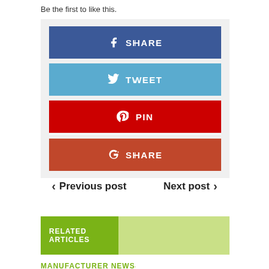Be the first to like this.
[Figure (infographic): Social sharing buttons: Facebook SHARE (blue), Twitter TWEET (light blue), Pinterest PIN (red), Google+ SHARE (dark red/orange)]
< Previous post    Next post >
RELATED ARTICLES
MANUFACTURER NEWS